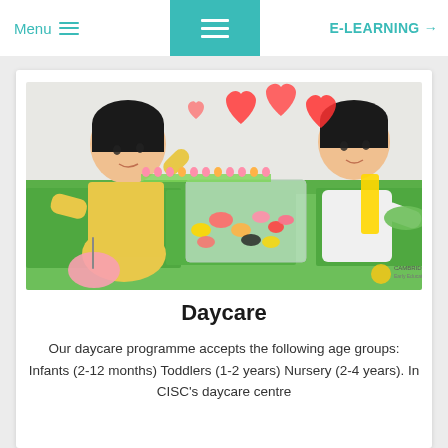Menu  E-LEARNING →
[Figure (photo): Two young toddlers (a girl in yellow and a boy in white) playing with colorful objects in a clear plastic tub on a green table, with paper heart decorations in the background. Cambridge Early Education Centre watermark visible.]
Daycare
Our daycare programme accepts the following age groups: Infants (2-12 months) Toddlers (1-2 years) Nursery (2-4 years). In CISC's daycare centre